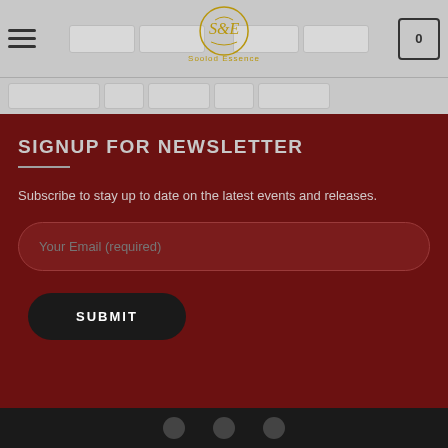[Figure (screenshot): Website navigation bar with hamburger menu, nav links, Soolod Essence logo in center, and cart icon showing 0]
SIGNUP FOR NEWSLETTER
Subscribe to stay up to date on the latest events and releases.
Your Email (required)
SUBMIT
Social media icons footer